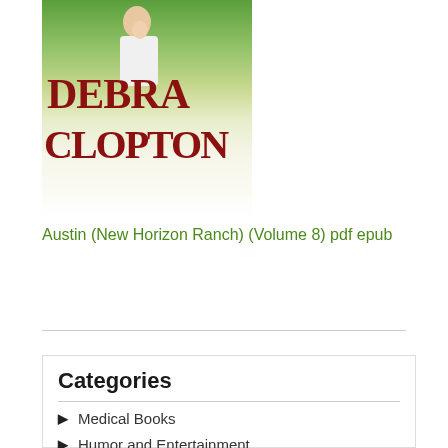[Figure (illustration): Book cover for 'Austin (New Horizon Ranch) Volume 8' by Debra Clopton, showing a man holding a child with horses in a green field background. The author name 'DEBRA CLOPTON' is displayed in large red serif letters.]
Austin (New Horizon Ranch) (Volume 8) pdf epub
Categories
Medical Books
Humor and Entertainment